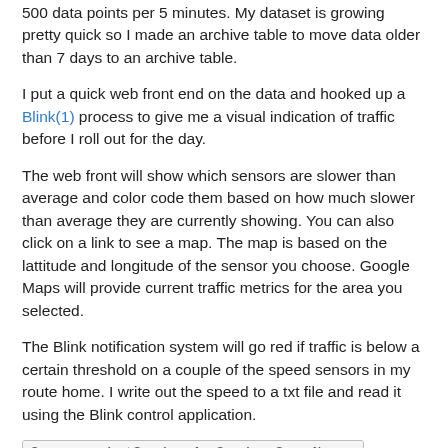500 data points per 5 minutes. My dataset is growing pretty quick so I made an archive table to move data older than 7 days to an archive table.
I put a quick web front end on the data and hooked up a Blink(1) process to give me a visual indication of traffic before I roll out for the day.
The web front will show which sensors are slower than average and color code them based on how much slower than average they are currently showing. You can also click on a link to see a map. The map is based on the lattitude and longitude of the sensor you choose. Google Maps will provide current traffic metrics for the area you selected.
The Blink notification system will go red if traffic is below a certain threshold on a couple of the speed sensors in my route home. I write out the speed to a txt file and read it using the Blink control application.
| Sensor | Last Speed | Avg Speed | SensorName |
| --- | --- | --- | --- |
| I95 N1-TO | 23 | 45 | M220REV-14 |